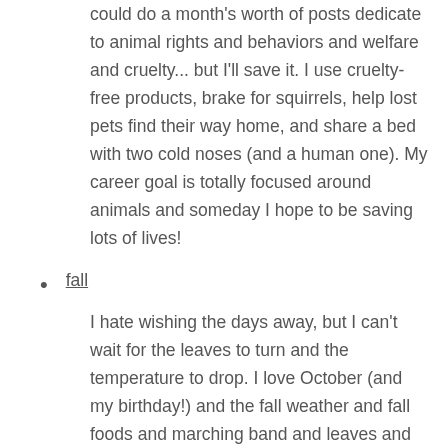could do a month's worth of posts dedicate to animal rights and behaviors and welfare and cruelty... but I'll save it. I use cruelty-free products, brake for squirrels, help lost pets find their way home, and share a bed with two cold noses (and a human one). My career goal is totally focused around animals and someday I hope to be saving lots of lives!
fall
I hate wishing the days away, but I can't wait for the leaves to turn and the temperature to drop. I love October (and my birthday!) and the fall weather and fall foods and marching band and leaves and hot drinks and scarves and boots and clouds and everything fall. It makes me incredibly happy and every year I look forward to the changing seasons!